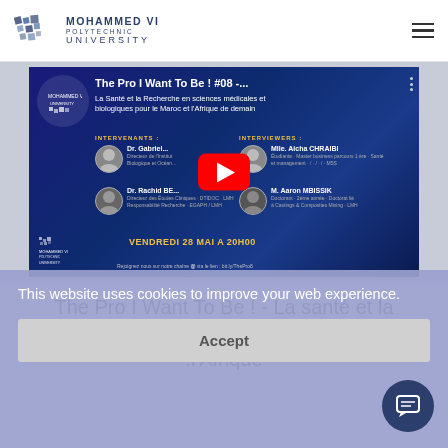Mohammed VI Polytechnic University
[Figure (screenshot): YouTube video thumbnail for 'The Pro I Want To Be! #08 - La Santé et la Recherche en sciences médicales et biologiques pour le Maroc et l'Afrique de demain'. Shows intervenants Dr. Gabriel and Dr. Rachid Belahcen, interviewers Mlle. Aicha CHRAIBI and M. Aaron MBISSIK. Date: VENDREDI 28 MAI A 20H00. Mohammed VI Polytechnic University branding.]
The Pro I Want To Be ! - La santé et la recherche médicale &amp; biologique pour l'Afrique
This website uses cookies to improve your web experience.
Accept